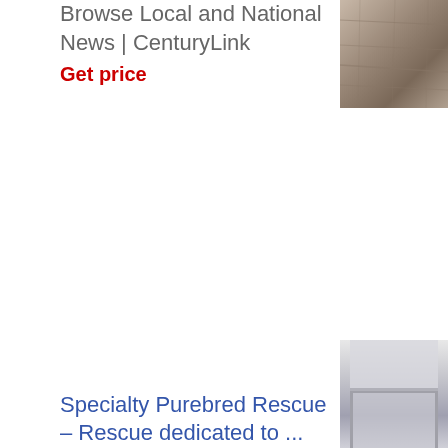Browse Local and National News | CenturyLink
Get price
[Figure (photo): Photo of wooden/stone floor texture, gray-brown tones]
Specialty Purebred Rescue – Rescue dedicated to ...
[Figure (photo): Photo of interior space, white/gray building interior with railing]